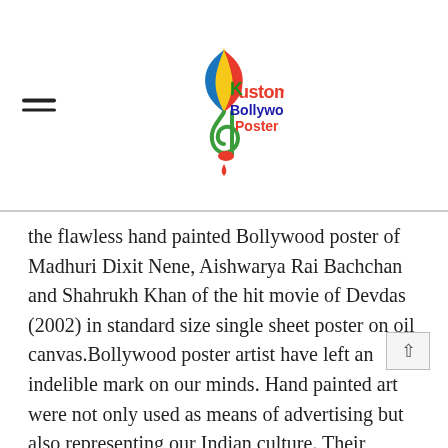Kustom Bollywood Poster
the flawless hand painted Bollywood poster of Madhuri Dixit Nene, Aishwarya Rai Bachchan and Shahrukh Khan of the hit movie of Devdas (2002) in standard size single sheet poster on oil canvas.Bollywood poster artist have left an indelible mark on our minds. Hand painted art were not only used as means of advertising but also representing our Indian culture. Their colour captured the shades of characters and reflected the intensity and drama in high voltage on canvas.With these meaningful hand painted poster we come to know who is playing what character.
Hand painted Bollywood poster on canvas by the best hand painting Bollywood poster artist Mumbai, India. Bollywood posters studio presenting the old Bollywood movie posters collection of 50's, 60's, 70's, 80's, 90's these poster are